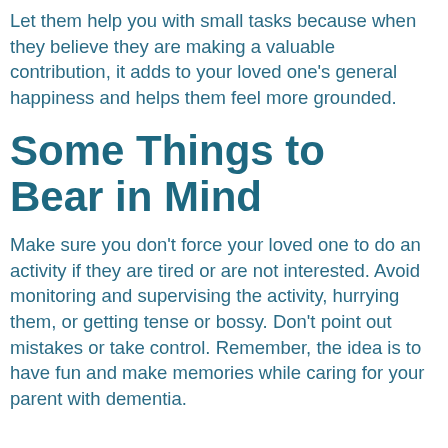Let them help you with small tasks because when they believe they are making a valuable contribution, it adds to your loved one's general happiness and helps them feel more grounded.
Some Things to Bear in Mind
Make sure you don't force your loved one to do an activity if they are tired or are not interested. Avoid monitoring and supervising the activity, hurrying them, or getting tense or bossy. Don't point out mistakes or take control. Remember, the idea is to have fun and make memories while caring for your parent with dementia.